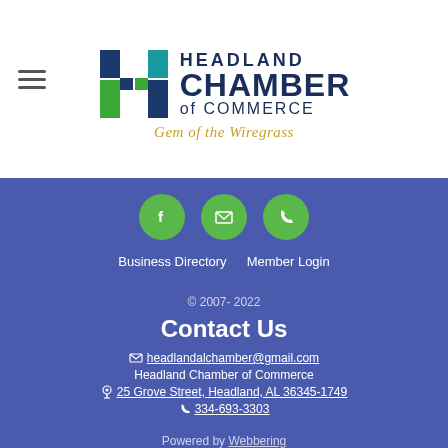[Figure (logo): Headland Chamber of Commerce logo with stylized H in blue and green, text reading HEADLAND CHAMBER of COMMERCE, tagline Gem of the Wiregrass in gold italic]
[Figure (infographic): Three green circular icon buttons: Facebook (f), Email (envelope), Phone (handset)]
Business Directory   Member Login
© 2007- 2022
Contact Us
headlandalchamber@gmail.com
Headland Chamber of Commerce
25 Grove Street, Headland, AL 36345-1749
334-693-3303
Powered by Webbering